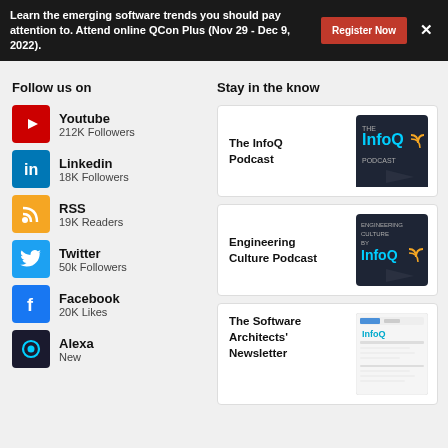Learn the emerging software trends you should pay attention to. Attend online QCon Plus (Nov 29 - Dec 9, 2022). | Register Now | X
Follow us on
Youtube — 212K Followers
Linkedin — 18K Followers
RSS — 19K Readers
Twitter — 50k Followers
Facebook — 20K Likes
Alexa — New
Stay in the know
[Figure (other): The InfoQ Podcast logo card]
The InfoQ Podcast
[Figure (other): Engineering Culture by InfoQ podcast logo card]
Engineering Culture Podcast
[Figure (other): The Software Architects' Newsletter preview card]
The Software Architects' Newsletter